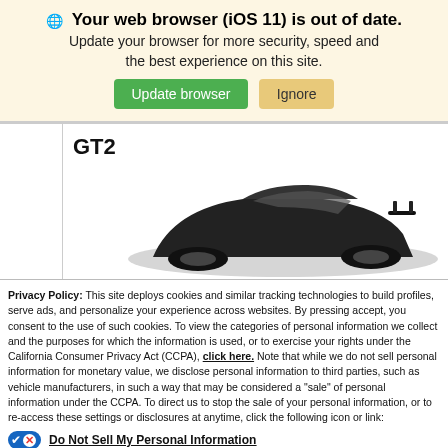🌐 Your web browser (iOS 11) is out of date.
Update your browser for more security, speed and the best experience on this site.
GT2
[Figure (photo): Partial rear view of a dark sports car (GT2) visible at the bottom of the content area]
Privacy Policy: This site deploys cookies and similar tracking technologies to build profiles, serve ads, and personalize your experience across websites. By pressing accept, you consent to the use of such cookies. To view the categories of personal information we collect and the purposes for which the information is used, or to exercise your rights under the California Consumer Privacy Act (CCPA), click here. Note that while we do not sell personal information for monetary value, we disclose personal information to third parties, such as vehicle manufacturers, in such a way that may be considered a "sale" of personal information under the CCPA. To direct us to stop the sale of your personal information, or to re-access these settings or disclosures at anytime, click the following icon or link:
Do Not Sell My Personal Information
Language:  English  ∨  Powered by ComplyAuto
Accept and Continue →   California Privacy Disclosures